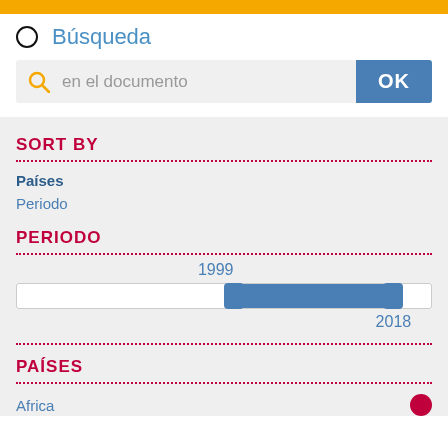Búsqueda
en el documento
SORT BY
Países
Periodo
PERIODO
[Figure (other): Range slider showing period from 1999 to 2018]
PAÍSES
Africa